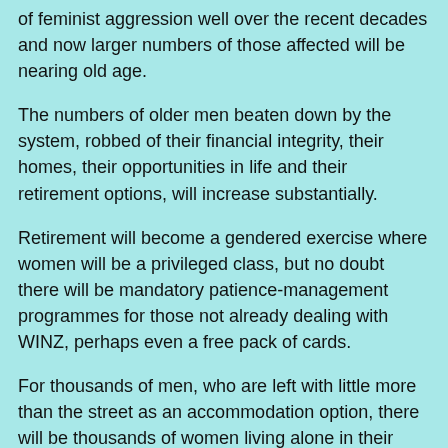of feminist aggression well over the recent decades and now larger numbers of those affected will be nearing old age.
The numbers of older men beaten down by the system, robbed of their financial integrity, their homes, their opportunities in life and their retirement options, will increase substantially.
Retirement will become a gendered exercise where women will be a privileged class, but no doubt there will be mandatory patience-management programmes for those not already dealing with WINZ, perhaps even a free pack of cards.
For thousands of men, who are left with little more than the street as an accommodation option, there will be thousands of women living alone in their court acquired houses. It will be easy for the system to provide gendered benefits disguised as being available to all.